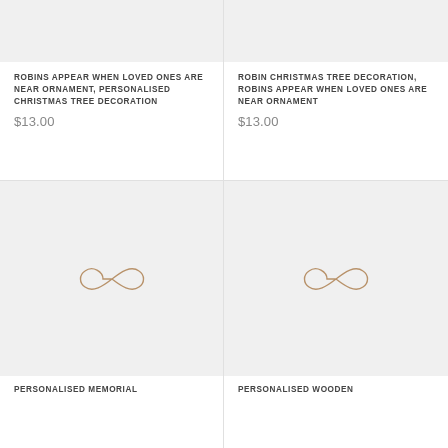[Figure (photo): Product image placeholder (light gray) for Robins Appear ornament, top left]
[Figure (photo): Product image placeholder (light gray) for Robin Christmas Tree Decoration, top right]
ROBINS APPEAR WHEN LOVED ONES ARE NEAR ORNAMENT, PERSONALISED CHRISTMAS TREE DECORATION
$13.00
ROBIN CHRISTMAS TREE DECORATION, ROBINS APPEAR WHEN LOVED ONES ARE NEAR ORNAMENT
$13.00
[Figure (logo): Infinity/loop symbol logo on gray background, bottom left product image]
[Figure (logo): Infinity/loop symbol logo on gray background, bottom right product image]
PERSONALISED MEMORIAL
PERSONALISED WOODEN